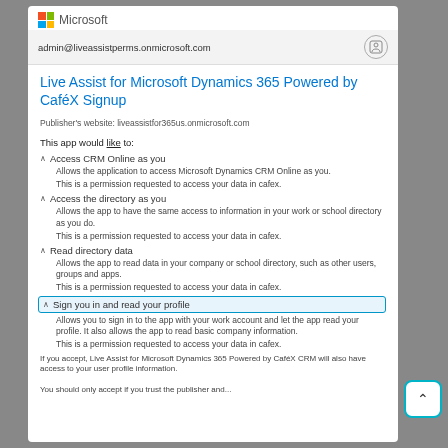[Figure (logo): Microsoft logo with colorful grid and Microsoft wordmark]
admin@liveassistperms.onmicrosoft.com
Live Assist for Microsoft Dynamics 365 Powered by CaféX Signup
Publisher's website: liveassistfor365us.onmicrosoft.com
This app would like to:
Access CRM Online as you
Allows the application to access Microsoft Dynamics CRM Online as you.
This is a permission requested to access your data in cafex.
Access the directory as you
Allows the app to have the same access to information in your work or school directory as you do.
This is a permission requested to access your data in cafex.
Read directory data
Allows the app to read data in your company or school directory, such as other users, groups and apps.
This is a permission requested to access your data in cafex.
Sign you in and read your profile
Allows you to sign in to the app with your work account and let the app read your profile. It also allows the app to read basic company information.
This is a permission requested to access your data in cafex.
If you accept, Live Assist for Microsoft Dynamics 365 Powered by Caf&#233;X CRM will also have access to your user profile information.
You should only accept if you trust the publisher and...